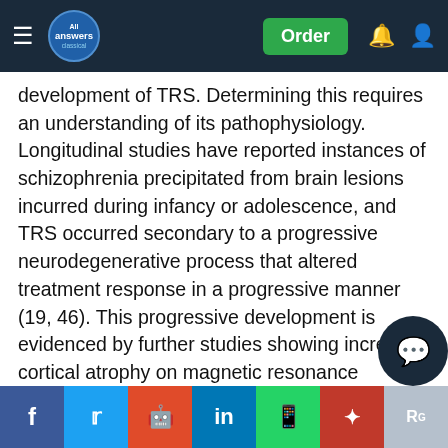All Answers Classical — Order
development of TRS. Determining this requires an understanding of its pathophysiology. Longitudinal studies have reported instances of schizophrenia precipitated from brain lesions incurred during infancy or adolescence, and TRS occurred secondary to a progressive neurodegenerative process that altered treatment response in a progressive manner (19, 46). This progressive development is evidenced by further studies showing increased cortical atrophy on magnetic resonance imaging (MRI), and lower catecholamine levels in the cerebrospinal fluid (CSF) of patients with TRS compared to those with responsive schizophrenia, especially if they had pre-dominantly “negative” symptoms (47). Further evidence is seen in studies where cessation of cannabis abuse led to significant improvements in “positive” and “negative” [symptoms], [reducing] [psychosocial] functioning (30).